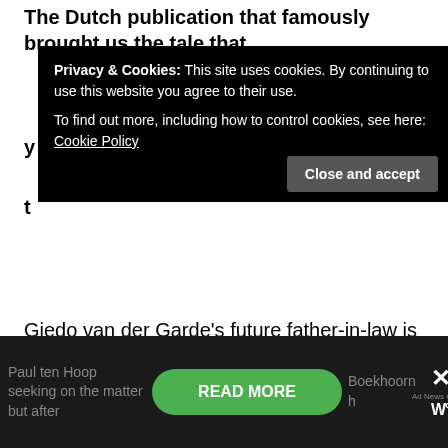The Dutch publication that famously brought us the tale that
[Figure (screenshot): Cookie consent banner overlay with dark background. Text reads: 'Privacy & Cookies: This site uses cookies. By continuing to use this website you agree to their use. To find out more, including how to control cookies, see here: Cookie Policy'. A 'Close and accept' button appears in the lower right of the banner.]
Giedo van der Garde's future father-in-law is considering buying into the Williams team.
Marcel Boekhoorn, a seriously wealthy businessman apparently has expressed 'serious interest' in acquiring Toto Wolff's 15% stake in the historic British team. Van der Garde's manager – Jan
[Figure (screenshot): Bottom dark bar with partial article text 'Paul ten Hoop... Boekhoorn h... seeking on the matter but after...' and a green 'READ MORE' button, an X close button, and a publication brand logo/watermark.]